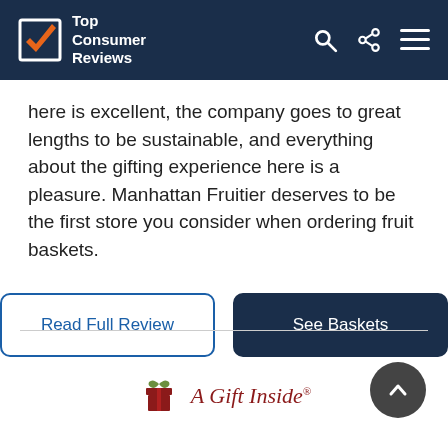Top Consumer Reviews
here is excellent, the company goes to great lengths to be sustainable, and everything about the gifting experience here is a pleasure. Manhattan Fruitier deserves to be the first store you consider when ordering fruit baskets.
[Figure (other): Two buttons: 'Read Full Review' (outlined) and 'See Baskets' (filled dark blue)]
[Figure (logo): A Gift Inside logo with gift box icon and text 'A Gift Inside']